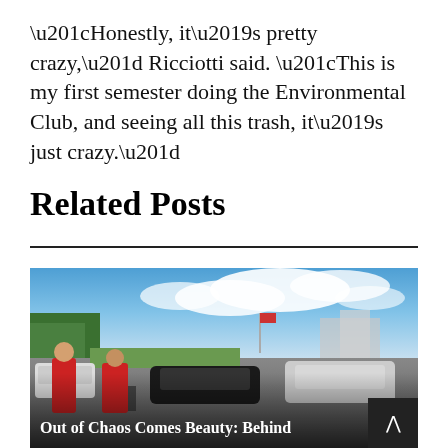“Honestly, it’s pretty crazy,” Ricciotti said. “This is my first semester doing the Environmental Club, and seeing all this trash, it’s just crazy.”
Related Posts
[Figure (photo): Outdoor parking lot or road scene with two people in red shirts in the foreground, cars in background, blue sky with clouds, green trees on left, American flag visible in distance.]
Out of Chaos Comes Beauty: Behind